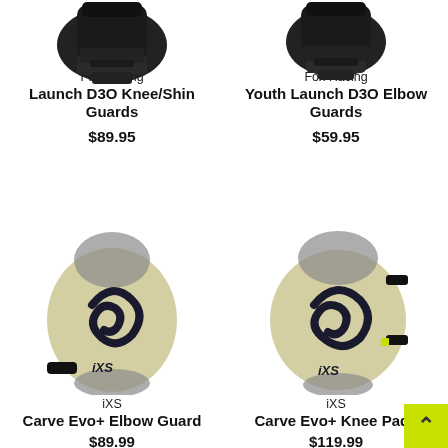[Figure (photo): Fox Racing Launch D3O Knee/Shin Guards product image, black protective gear]
Fox Racing
Launch D3O Knee/Shin Guards
$89.95
[Figure (photo): Fox Racing Youth Launch D3O Elbow Guards product image, black protective gear]
Fox Racing
Youth Launch D3O Elbow Guards
$59.95
[Figure (photo): iXS Carve Evo+ Elbow Guard product image, cream/tan and grey protective elbow pad]
iXS
Carve Evo+ Elbow Guard
$89.99
[Figure (photo): iXS Carve Evo+ Knee Pads product image, cream/tan and grey protective knee pad]
iXS
Carve Evo+ Knee Pads
$119.99